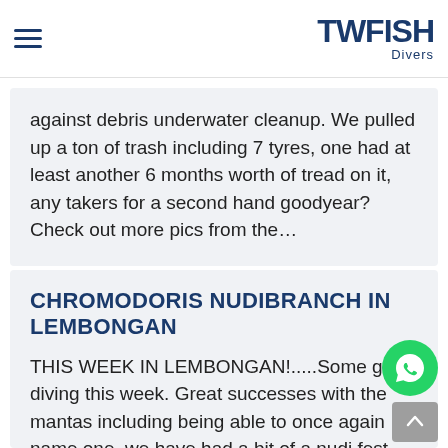Two Fish Divers
against debris underwater cleanup. We pulled up a ton of trash including 7 tyres, one had at least another 6 months worth of tread on it, any takers for a second hand goodyear? Check out more pics from the…
CHROMODORIS NUDIBRANCH IN LEMBONGAN
THIS WEEK IN LEMBONGAN!.....Some great diving this week. Great successes with the mantas including being able to once again name one. we have had a bit of a nudi fest with chromodoris, nembrotha, hargurda, flabelllinas